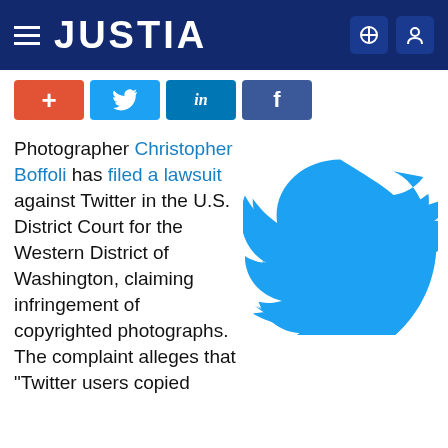JUSTIA
[Figure (logo): Social share buttons: plus (red), Twitter (blue), LinkedIn (blue), Facebook (indigo)]
Photographer Christopher Boffoli has filed a lawsuit against Twitter in the U.S. District Court for the Western District of Washington, claiming infringement of copyrighted photographs. The complaint alleges that "Twitter users copied
[Figure (logo): Twitter bird logo in blue]